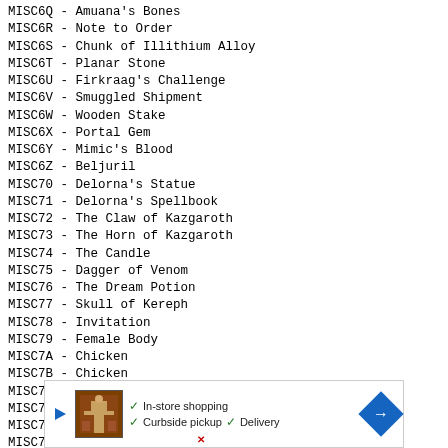MISC6Q - Amuana's Bones
MISC6R - Note to Order
MISC6S - Chunk of Illithium Alloy
MISC6T - Planar Stone
MISC6U - Firkraag's Challenge
MISC6V - Smuggled Shipment
MISC6W - Wooden Stake
MISC6X - Portal Gem
MISC6Y - Mimic's Blood
MISC6Z - Beljuril
MISC70 - Delorna's Statue
MISC71 - Delorna's Spellbook
MISC72 - The Claw of Kazgaroth
MISC73 - The Horn of Kazgaroth
MISC74 - The Candle
MISC75 - Dagger of Venom
MISC76 - The Dream Potion
MISC77 - Skull of Kereph
MISC78 - Invitation
MISC79 - Female Body
MISC7A - Chicken
MISC7B - Chicken
MISC7C - Contact's Note
MISC7D - Barl's Antidote
MISC7E - Fairy Dust
MISC7F - Ti'Vael's Head
[Figure (infographic): Advertisement banner with play button, store image, checkmarks for In-store shopping, Curbside pickup, Delivery, and a blue arrow direction icon]